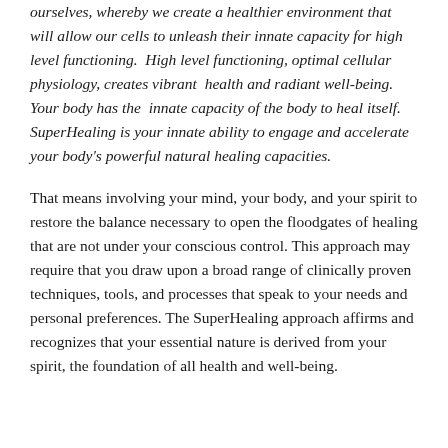ourselves, whereby we create a healthier environment that will allow our cells to unleash their innate capacity for high level functioning. High level functioning, optimal cellular physiology, creates vibrant health and radiant well-being. Your body has the innate capacity of the body to heal itself. SuperHealing is your innate ability to engage and accelerate your body's powerful natural healing capacities.
That means involving your mind, your body, and your spirit to restore the balance necessary to open the floodgates of healing that are not under your conscious control. This approach may require that you draw upon a broad range of clinically proven techniques, tools, and processes that speak to your needs and personal preferences. The SuperHealing approach affirms and recognizes that your essential nature is derived from your spirit, the foundation of all health and well-being.